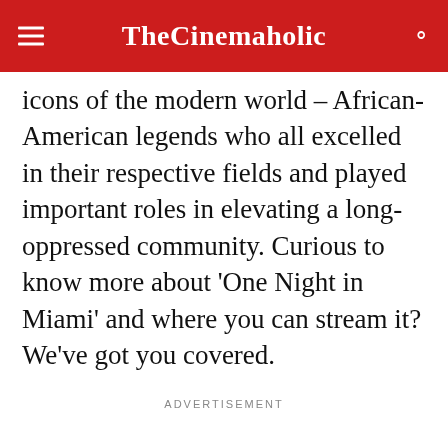TheCinemaholic
icons of the modern world – African-American legends who all excelled in their respective fields and played important roles in elevating a long-oppressed community. Curious to know more about 'One Night in Miami' and where you can stream it? We've got you covered.
ADVERTISEMENT